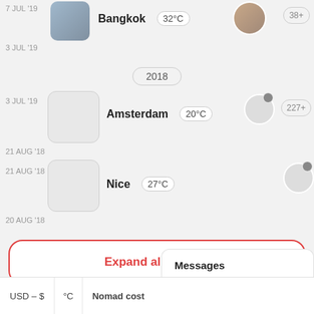7 JUL '19
[Figure (photo): Bangkok street scene thumbnail]
Bangkok  32°C
[Figure (photo): Man avatar photo]
38+
3 JUL '19
2018
3 JUL '19
[Figure (photo): Amsterdam placeholder thumbnail]
Amsterdam  20°C
[Figure (illustration): Avatar placeholder circle with notification dot]
227+
21 AUG '18
21 AUG '18
[Figure (photo): Nice placeholder thumbnail]
Nice  27°C
[Figure (illustration): Avatar placeholder circle with notification dot]
20 AUG '18
Expand all 30 trips
USD – $
°C
Nomad cost
Messages